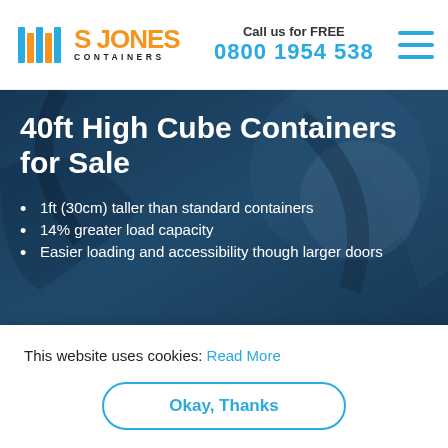S JONES CONTAINERS | Call us for FREE 0800 1954 538
40ft High Cube Containers for Sale
1ft (30cm) taller than standard containers
14% greater load capacity
Easier loading and accessibility though larger doors
This website uses cookies: Read More
Okay, Thanks
high cube containers for sale, available for